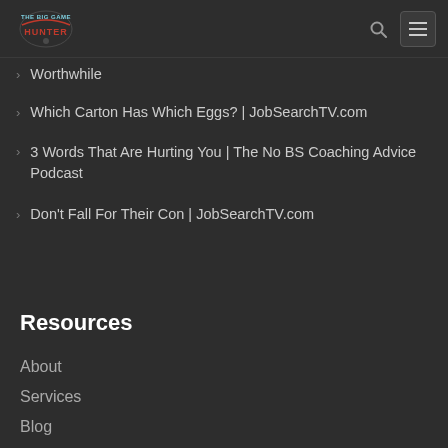[Figure (logo): The Big Game Hunter logo — stylized text with blue and red colors]
Worthwhile
Which Carton Has Which Eggs? | JobSearchTV.com
3 Words That Are Hurting You | The No BS Coaching Advice Podcast
Don't Fall For Their Con | JobSearchTV.com
Resources
About
Services
Blog